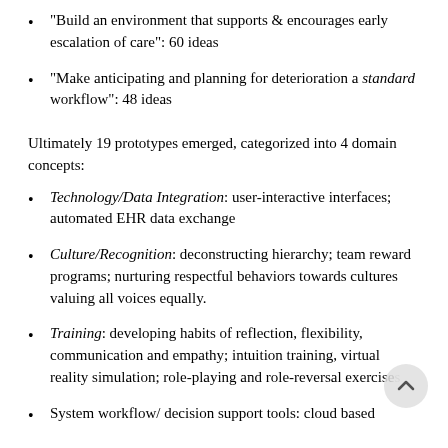"Build an environment that supports & encourages early escalation of care": 60 ideas
"Make anticipating and planning for deterioration a standard workflow": 48 ideas
Ultimately 19 prototypes emerged, categorized into 4 domain concepts:
Technology/Data Integration: user-interactive interfaces; automated EHR data exchange
Culture/Recognition: deconstructing hierarchy; team reward programs; nurturing respectful behaviors towards cultures valuing all voices equally.
Training: developing habits of reflection, flexibility, communication and empathy; intuition training, virtual reality simulation; role-playing and role-reversal exercises
System workflow/ decision support tools: cloud based